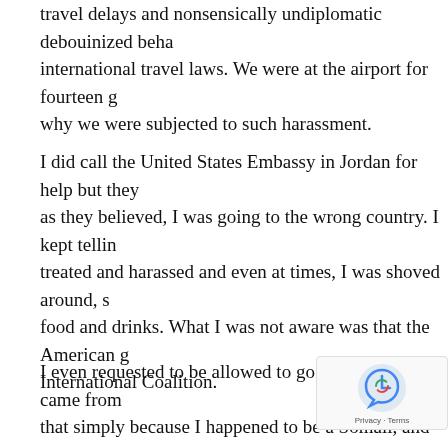travel delays and nonsensically undiplomatic debouinized beha... international travel laws. We were at the airport for fourteen g... why we were subjected to such harassment.
I did call the United States Embassy in Jordan for help but they... as they believed, I was going to the wrong country. I kept tellin... treated and harassed and even at times, I was shoved around, s... food and drinks. What I was not aware was that the American g... International Coalition.
I even requested to be allowed to go back to where I came from... that simply because I happened to be a Somali, and no matter w... travel purposes, they always disrespected Somali people. About... Iraq in Jordan and they surely came to our aid and helped us al... Embassy in Amman, Jordan requested the Jordanian... diplomatic protocols and to explain why they subject... excruciating experiences. The Iraqi Embassy requested the jor...